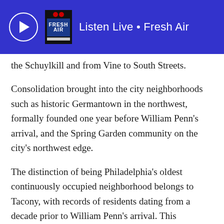[Figure (screenshot): Blue banner with NPR Fresh Air live radio player showing play button, Fresh Air logo, and text 'Listen Live • Fresh Air']
the Schuylkill and from Vine to South Streets.
Consolidation brought into the city neighborhoods such as historic Germantown in the northwest, formally founded one year before William Penn's arrival, and the Spring Garden community on the city's northwest edge.
The distinction of being Philadelphia's oldest continuously occupied neighborhood belongs to Tacony, with records of residents dating from a decade prior to William Penn's arrival. This neighborhood located along the Delaware River, in what is now Philadelphia's Lower Northeast section, is near the place where Penn made a Treaty of Peace with the Native Americans who originally inhibited the Philadelphia region.